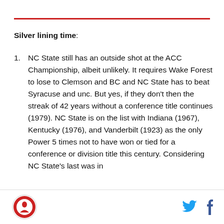Silver lining time:
NC State still has an outside shot at the ACC Championship, albeit unlikely. It requires Wake Forest to lose to Clemson and BC and NC State has to beat Syracuse and unc. But yes, if they don't then the streak of 42 years without a conference title continues (1979). NC State is on the list with Indiana (1967), Kentucky (1976), and Vanderbilt (1923) as the only Power 5 times not to have won or tied for a conference or division title this century. Considering NC State's last was in
Logo and social media icons